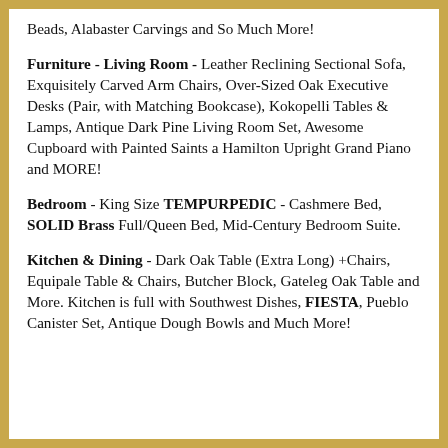Beads, Alabaster Carvings and So Much More!
Furniture - Living Room - Leather Reclining Sectional Sofa, Exquisitely Carved Arm Chairs, Over-Sized Oak Executive Desks (Pair, with Matching Bookcase), Kokopelli Tables & Lamps, Antique Dark Pine Living Room Set, Awesome Cupboard with Painted Saints a Hamilton Upright Grand Piano and MORE!
Bedroom - King Size TEMPURPEDIC - Cashmere Bed, SOLID Brass Full/Queen Bed, Mid-Century Bedroom Suite.
Kitchen & Dining - Dark Oak Table (Extra Long) +Chairs, Equipale Table & Chairs, Butcher Block, Gateleg Oak Table and More. Kitchen is full with Southwest Dishes, FIESTA, Pueblo Canister Set, Antique Dough Bowls and Much More!